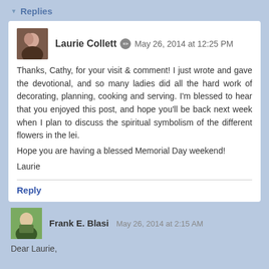Replies
Laurie Collett  May 26, 2014 at 12:25 PM
Thanks, Cathy, for your visit & comment! I just wrote and gave the devotional, and so many ladies did all the hard work of decorating, planning, cooking and serving. I'm blessed to hear that you enjoyed this post, and hope you'll be back next week when I plan to discuss the spiritual symbolism of the different flowers in the lei.
Hope you are having a blessed Memorial Day weekend!
Laurie
Reply
Frank E. Blasi  May 26, 2014 at 2:15 AM
Dear Laurie,